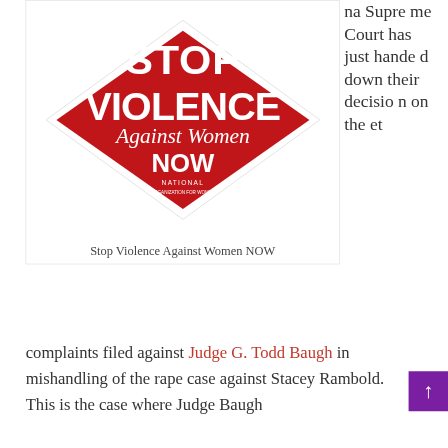[Figure (photo): Red diamond-shaped logo/sticker reading 'STOP VIOLENCE Against Women NOW' with NOW (National Organization for Women) branding in white text on red background.]
Stop Violence Against Women NOW
na Supreme Court has just handed down their decision on the et
complaints filed against Judge G. Todd Baugh in mishandling of the rape case against Stacey Rambold. This is the case where Judge Baugh